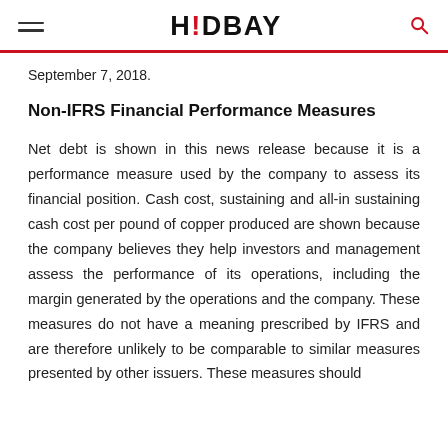HUDBAY
September 7, 2018.
Non-IFRS Financial Performance Measures
Net debt is shown in this news release because it is a performance measure used by the company to assess its financial position. Cash cost, sustaining and all-in sustaining cash cost per pound of copper produced are shown because the company believes they help investors and management assess the performance of its operations, including the margin generated by the operations and the company. These measures do not have a meaning prescribed by IFRS and are therefore unlikely to be comparable to similar measures presented by other issuers. These measures should